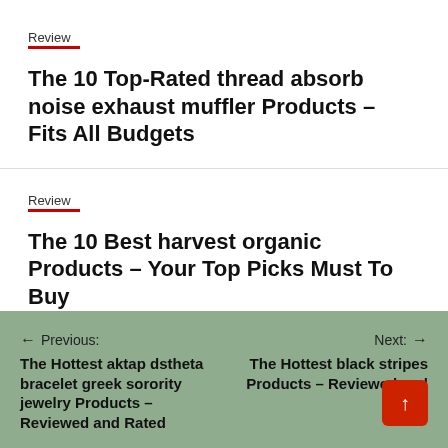Review
The 10 Top-Rated thread absorb noise exhaust muffler Products – Fits All Budgets
Review
The 10 Best harvest organic Products – Your Top Picks Must To Buy
← Previous: The Hottest aktap dstheta bracelet greek sorority jewelry Products – Reviewed and Rated
Next: → The Hottest black stripes Products – Reviewed and Rated